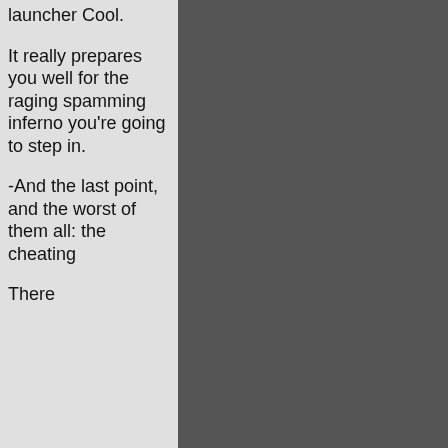launcher Cool.
It really prepares you well for the raging spamming inferno you're going to step in.
-And the last point, and the worst of them all: the cheating
There